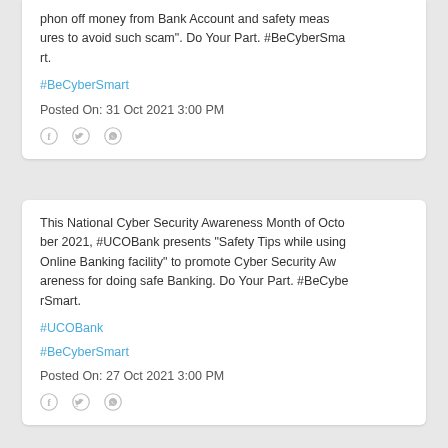phon off money from Bank Account and safety measures to avoid such scam". Do Your Part. #BeCyberSmart.
#BeCyberSmart
Posted On: 31 Oct 2021 3:00 PM
This National Cyber Security Awareness Month of October 2021, #UCOBank presents "Safety Tips while using Online Banking facility" to promote Cyber Security Awareness for doing safe Banking. Do Your Part. #BeCyberSmart.
#UCOBank
#BeCyberSmart
Posted On: 27 Oct 2021 3:00 PM